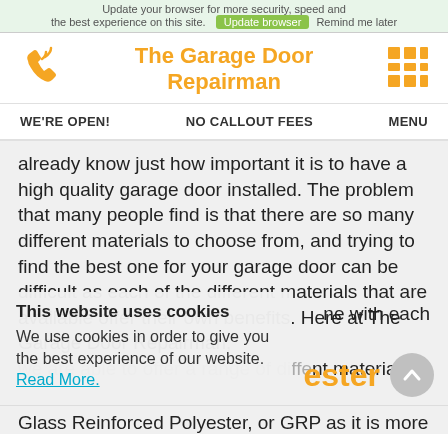Update your browser for more security, speed and the best experience on this site. Update browser Remind me later
The Garage Door Repairman
WE'RE OPEN!   NO CALLOUT FEES   MENU
already know just how important it is to have a high quality garage door installed. The problem that many people find is that there are so many different materials to choose from, and trying to find the best one for your garage door can be difficult as each of the different materials that are available offer their own benefits. Here at The Garage Door Repairman, we are able to offer a range of different materials. [partially obscured] ne with each
This website uses cookies
We use cookies in order to give you the best experience of our website. Read More.
ester
Glass Reinforced Polyester, or GRP as it is more